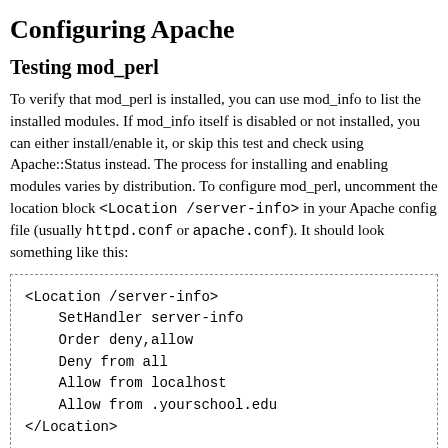Configuring Apache
Testing mod_perl
To verify that mod_perl is installed, you can use mod_info to list the installed modules. If mod_info itself is disabled or not installed, you can either install/enable it, or skip this test and check using Apache::Status instead. The process for installing and enabling modules varies by distribution. To configure mod_perl, uncomment the location block <Location /server-info> in your Apache config file (usually httpd.conf or apache.conf). It should look something like this:
<Location /server-info>
    SetHandler server-info
    Order deny,allow
    Deny from all
    Allow from localhost
    Allow from .yourschool.edu
</Location>
You may have to add the Order, Deny, and Allow lines yourself, or